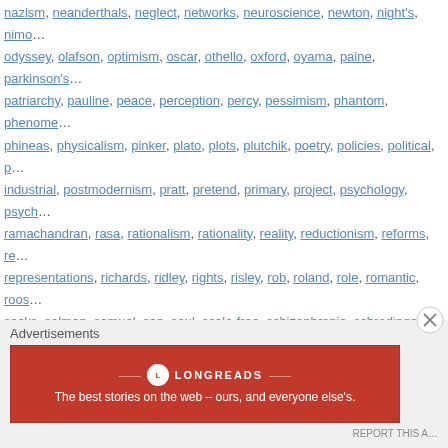nazism, neanderthals, neglect, networks, neuroscience, newton, night's, nimo, odyssey, olafson, optimism, oscar, othello, oxford, oyama, paine, parkinson's, patriarchy, pauline, peace, perception, percy, pessimism, phantom, phenome, phineas, physicalism, pinker, plato, plots, plutchik, poetry, policies, political, p, industrial, postmodernism, pratt, pretend, primary, project, psychology, psych, ramachandran, rasa, rationalism, rationality, reality, reductionism, reforms, re, representations, richards, ridley, rights, risley, rob, roland, role, romantic, roos, sacks, salman, samuel, san, saul, scale-free, schizophrenia, schrodinger's, s, knowledge, september, sequencing, sexism, sexual, shakespeare, shaw, sim, socialization, societies, society, sociobiology, sokal, soper, sophia, soul, spec, standard, star, status, steiner, stepan, sterilization, story | Leave a comment
Advertisements
[Figure (other): Longreads advertisement banner with red background, circular logo, and tagline: The best stories on the web – ours, and everyone else's.]